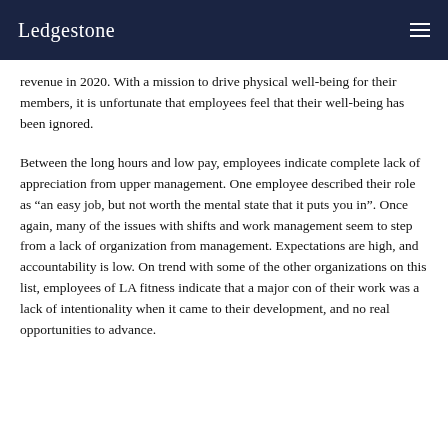Ledgestone
revenue in 2020. With a mission to drive physical well-being for their members, it is unfortunate that employees feel that their well-being has been ignored.
Between the long hours and low pay, employees indicate complete lack of appreciation from upper management. One employee described their role as “an easy job, but not worth the mental state that it puts you in”. Once again, many of the issues with shifts and work management seem to step from a lack of organization from management. Expectations are high, and accountability is low. On trend with some of the other organizations on this list, employees of LA fitness indicate that a major con of their work was a lack of intentionality when it came to their development, and no real opportunities to advance.